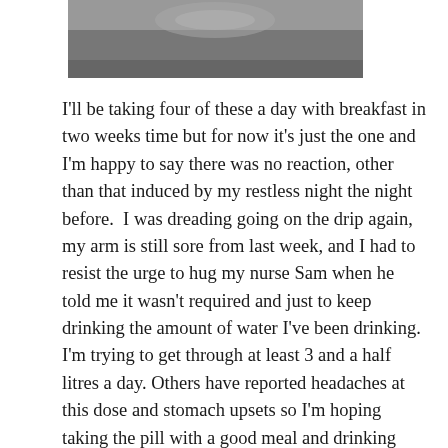[Figure (photo): Partial photo of pills or medical items on a dark surface, cropped at top]
I'll be taking four of these a day with breakfast in two weeks time but for now it's just the one and I'm happy to say there was no reaction, other than that induced by my restless night the night before.  I was dreading going on the drip again, my arm is still sore from last week, and I had to resist the urge to hug my nurse Sam when he told me it wasn't required and just to keep drinking the amount of water I've been drinking.  I'm trying to get through at least 3 and a half litres a day.  Others have reported headaches at this dose and stomach upsets so I'm hoping taking the pill with a good meal and drinking lots of water will head that off and two days in that seems to be doing the trick.  I had another blood test yesterday which showed